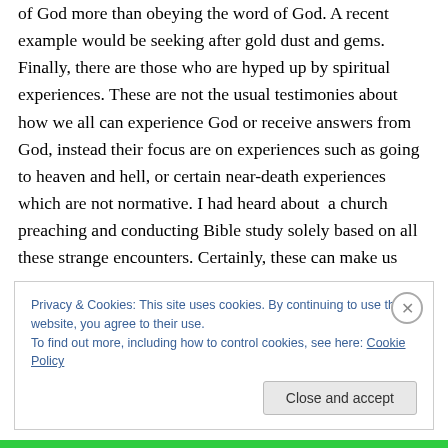Word of God in the Bible and seek after the manifestations of God more than obeying the word of God. A recent example would be seeking after gold dust and gems. Finally, there are those who are hyped up by spiritual experiences. These are not the usual testimonies about how we all can experience God or receive answers from God, instead their focus are on experiences such as going to heaven and hell, or certain near-death experiences which are not normative. I had heard about  a church preaching and conducting Bible study solely based on all these strange encounters. Certainly, these can make us
Privacy & Cookies: This site uses cookies. By continuing to use this website, you agree to their use.
To find out more, including how to control cookies, see here: Cookie Policy